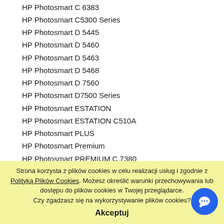HP Photosmart C 6383
HP Photosmart C5300 Series
HP Photosmart D 5445
HP Photosmart D 5460
HP Photosmart D 5463
HP Photosmart D 5468
HP Photosmart D 7560
HP Photosmart D7500 Series
HP Photosmart ESTATION
HP Photosmart ESTATION C510A
HP Photosmart PLUS
HP Photosmart Premium
HP Photosmart PREMIUM C 7380
HP Photosmart Premium eAIO (DSK)
HP Photosmart PREMIUM FAX
HP Photosmart WiFi
HP Photosmart Wireless All-In-One B110D
HP Photosmart Wireless All-In-One B110E
HP Photosmart Wireless All-In-One B110F
Strona korzysta z plików cookies w celu realizacji usług i zgodnie z Polityką Plików Cookies. Możesz określić warunki przechowywania lub dostępu do plików cookies w Twojej przeglądarce. Czy zgadzasz się na wykorzystywanie plików cookies?
Akceptuj